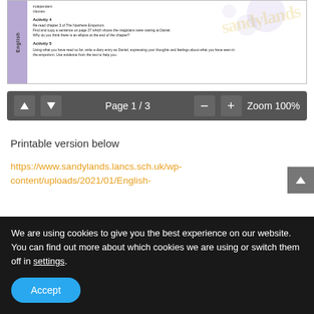[Figure (screenshot): Document preview showing an English worksheet with Activity 4 and Activity 5, purple sidebar with 'English' text rotated, decorative watermark and circles, small text about reading and writing activities.]
[Figure (screenshot): PDF viewer navigation toolbar with up/down arrow buttons, 'Page 1 / 3' text, minus and plus zoom buttons, and 'Zoom 100%' label, on a dark grey background.]
Printable version below
https://www.sandylands.lancs.sch.uk/wp-content/uploads/2021/01/English-
We are using cookies to give you the best experience on our website.
You can find out more about which cookies we are using or switch them off in settings.